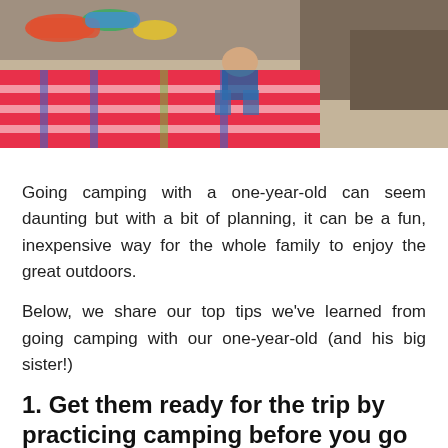[Figure (photo): Photo of a family camping scene with a young child on a colorful plaid blanket on sandy ground outdoors]
Going camping with a one-year-old can seem daunting but with a bit of planning, it can be a fun, inexpensive way for the whole family to enjoy the great outdoors.
Below, we share our top tips we've learned from going camping with our one-year-old (and his big sister!)
1. Get them ready for the trip by practicing camping before you go
If your children have never been in a tent before or